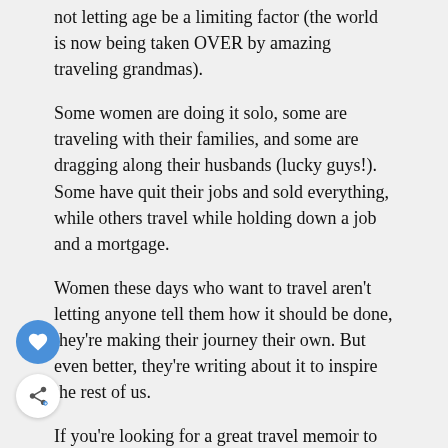not letting age be a limiting factor (the world is now being taken OVER by amazing traveling grandmas).
Some women are doing it solo, some are traveling with their families, and some are dragging along their husbands (lucky guys!). Some have quit their jobs and sold everything, while others travel while holding down a job and a mortgage.
Women these days who want to travel aren't letting anyone tell them how it should be done, they're making their journey their own. But even better, they're writing about it to inspire the rest of us.
If you're looking for a great travel memoir to add to your summer